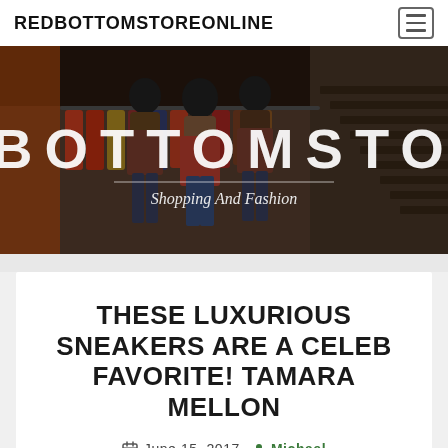REDBOTTOMSTOREONLINE
[Figure (photo): A retail fashion store interior showing mannequins wearing jackets and clothing racks with colorful garments. Large white overlay text reads BOTTOMSTOREONL. Below it reads Shopping And Fashion.]
THESE LUXURIOUS SNEAKERS ARE A CELEB FAVORITE! TAMARA MELLON
June 15, 2017  Michael